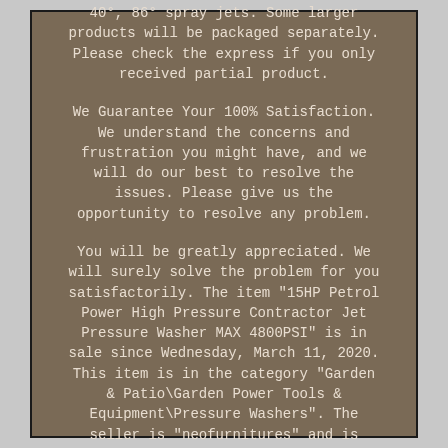5 nozzles included: 0°, 15°, 25°, 40°, 86° spray jets. Some larger products will be packaged separately. Please check the express if you only received partial product.

We Guarantee Your 100% Satisfaction. We understand the concerns and frustration you might have, and we will do our best to resolve the issues. Please give us the opportunity to resolve any problem.

You will be greatly appreciated. We will surely solve the problem for you satisfactorily. The item "15HP Petrol Power High Pressure Contractor Jet Pressure Washer MAX 4800PSI" is in sale since Wednesday, March 11, 2020. This item is in the category "Garden & Patio\Garden Power Tools & Equipment\Pressure Washers". The seller is "neofurnitures" and is located in Bury.